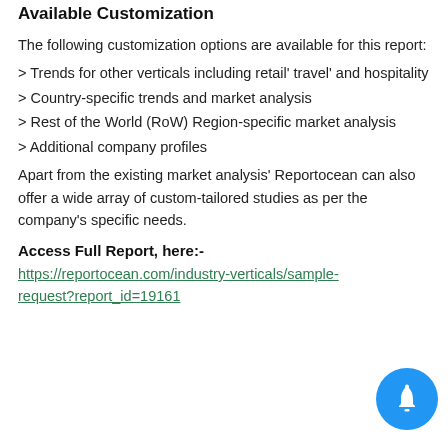Available Customization
The following customization options are available for this report:
> Trends for other verticals including retail' travel' and hospitality
> Country-specific trends and market analysis
> Rest of the World (RoW) Region-specific market analysis
> Additional company profiles
Apart from the existing market analysis' Reportocean can also offer a wide array of custom-tailored studies as per the company's specific needs.
Access Full Report, here:-
https://reportocean.com/industry-verticals/sample-request?report_id=19161